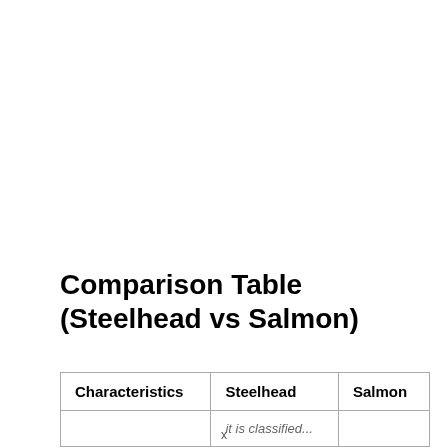Comparison Table (Steelhead vs Salmon)
| Characteristics | Steelhead | Salmon |
| --- | --- | --- |
|  | it is classified... |  |
x